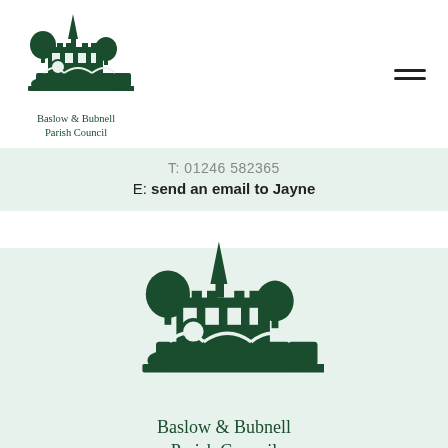[Figure (logo): Baslow & Bubnell Parish Council crest/logo showing a castle, church spire, bridge and trees in dark green]
Baslow & Bubnell
Parish Council
T: 01246 582365
E: send an email to Jayne
[Figure (logo): Larger version of Baslow & Bubnell Parish Council crest showing castle, church spire, bridge and trees in dark green]
Baslow & Bubnell
Parish Council